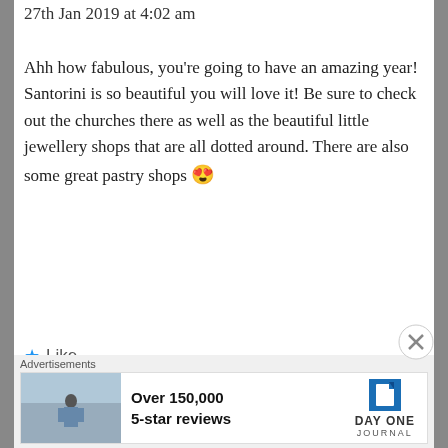27th Jan 2019 at 4:02 am
Ahh how fabulous, you're going to have an amazing year! Santorini is so beautiful you will love it! Be sure to check out the churches there as well as the beautiful little jewellery shops that are all dotted around. There are also some great pastry shops 😍
★ Like
Reply →
LOVESHETRAVELS
27th Jan 2019 at 9:50 am
Advertisements
Over 150,000
5-star reviews
DAY ONE
JOURNAL